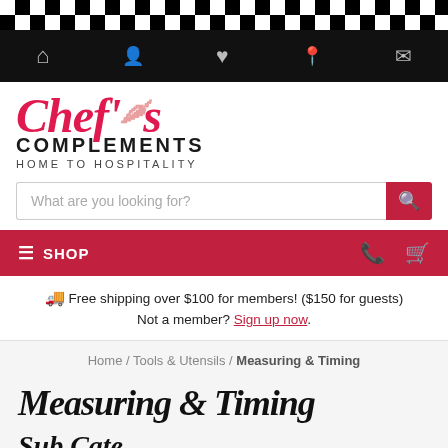[Figure (screenshot): Checkerboard black and white pattern bar at top of page]
Top navigation bar with home, user, heart/wishlist, location, and mail icons
[Figure (logo): Chef's Complements logo - script red text with chili pepper, bold COMPLEMENTS, HOME TO HOSPITALITY subtitle]
What are you looking for?
SHOP
🚚 Free shipping over $100 for members! ($150 for guests) Not a member? Sign up now.
Home / Tools & Utensils / Measuring & Timing
Measuring & Timing
Sub Cate...